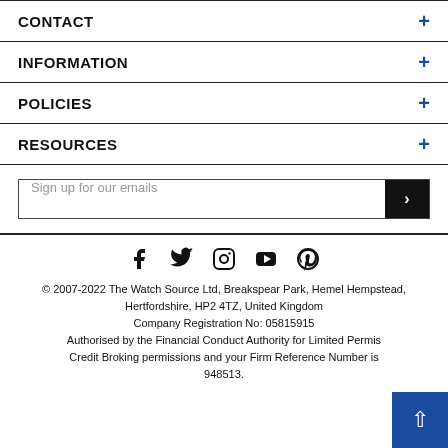CONTACT +
INFORMATION +
POLICIES +
RESOURCES +
Sign up for our emails
[Figure (other): Social media icons: Facebook, Twitter, Instagram, YouTube, Pinterest]
© 2007-2022 The Watch Source Ltd, Breakspear Park, Hemel Hempstead, Hertfordshire, HP2 4TZ, United Kingdom Company Registration No: 05815915 Authorised by the Financial Conduct Authority for Limited Permis Credit Broking permissions and your Firm Reference Number is 948513.